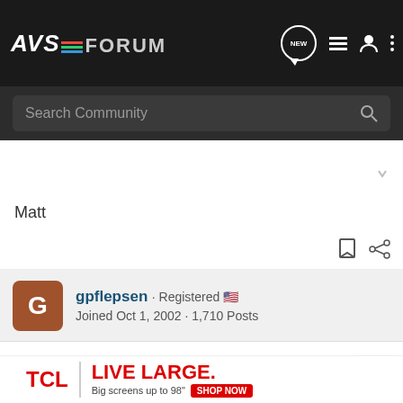AVS FORUM — Navigation bar with Search Community
Matt
gpflepsen · Registered 🇺🇸
Joined Oct 1, 2002 · 1,710 Posts
#3 · Dec 10, 2002
Just a note, you can practically steal DVI-D cables at Ebay.
[Figure (other): TCL advertisement banner: TCL | LIVE LARGE. Big screens up to 98" SHOP NOW]